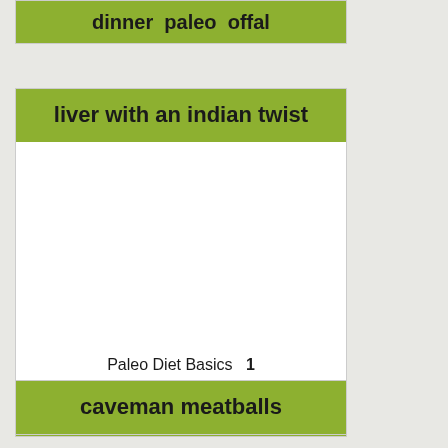dinner  paleo  offal
liver with an indian twist
Paleo Diet Basics   1
tomato  onion  garlic  liver  coconut
paleo  primal  perfect health diet
caveman meatballs